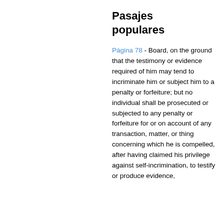Pasajes populares
Página 78 - Board, on the ground that the testimony or evidence required of him may tend to incriminate him or subject him to a penalty or forfeiture; but no individual shall be prosecuted or subjected to any penalty or forfeiture for or on account of any transaction, matter, or thing concerning which he is compelled, after having claimed his privilege against self-incrimination, to testify or produce evidence,